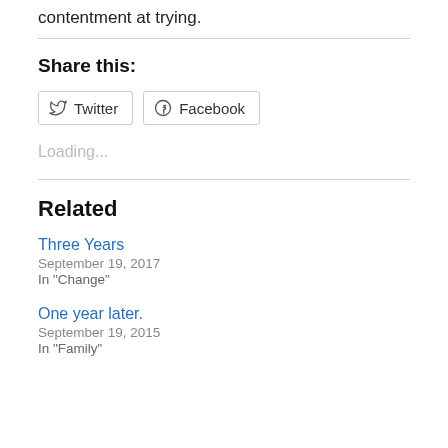contentment at trying.
Share this:
Twitter | Facebook
Loading...
Related
Three Years
September 19, 2017
In "Change"
One year later.
September 19, 2015
In "Family"